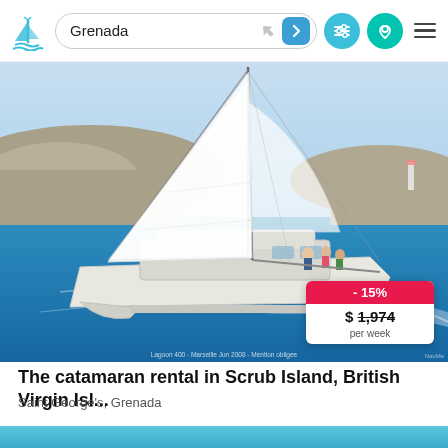Grenada
[Figure (photo): A white catamaran sailboat with large white sail, sailing on blue water with rocky coastline in the background. People visible on deck. Price badge showing -15% and $1,974 per week in bottom-right corner. Caption: Lagoon 400 - Marseille Jun 2008 - Mention obligee]
The catamaran rental in Scrub Island, British Virgin Isl...
Saint George's, Grenada